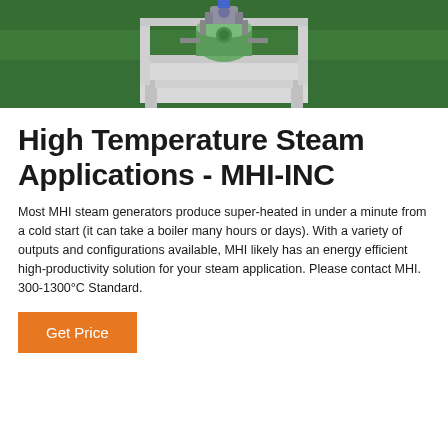[Figure (photo): Top-down view of an industrial steam generator unit mounted on a white metal frame, placed on a green floor. The machine has metallic components including pipes and a cylindrical tank.]
High Temperature Steam Applications - MHI-INC
Most MHI steam generators produce super-heated in under a minute from a cold start (it can take a boiler many hours or days). With a variety of outputs and configurations available, MHI likely has an energy efficient high-productivity solution for your steam application. Please contact MHI. 300-1300°C Standard.
Get Price